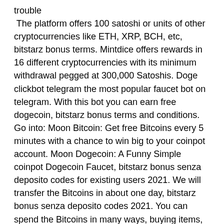trouble The platform offers 100 satoshi or units of other cryptocurrencies like ETH, XRP, BCH, etc, bitstarz bonus terms. Mintdice offers rewards in 16 different cryptocurrencies with its minimum withdrawal pegged at 300,000 Satoshis. Doge clickbot telegram the most popular faucet bot on telegram. With this bot you can earn free dogecoin, bitstarz bonus terms and conditions. Go into: Moon Bitcoin: Get free Bitcoins every 5 minutes with a chance to win big to your coinpot account. Moon Dogecoin: A Funny Simple coinpot Dogecoin Faucet, bitstarz bonus senza deposito codes for existing users 2021. We will transfer the Bitcoins in about one day, bitstarz bonus senza deposito codes 2021. You can spend the Bitcoins in many ways, buying items, gambling or selling them for common money. Join any of the 5th street casinos and get 400% bitcoin bonus on first